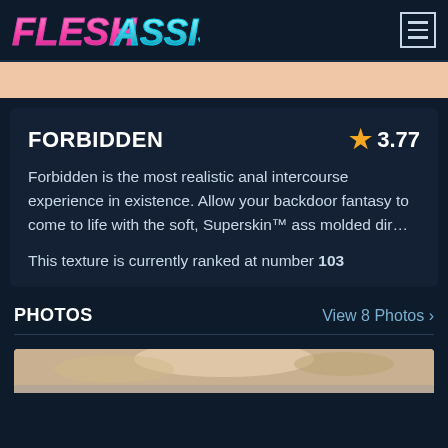FleshAssist
[Figure (photo): Skin-colored product image strip]
FORBIDDEN
3.77 (star rating)
Forbidden is the most realistic anal intercourse experience in existence. Allow your backdoor fantasy to come to life with the soft, Superskin™ ass molded dir...
This texture is currently ranked at number 103
PHOTOS
View 8 Photos >
[Figure (photo): Bottom photo strip showing partial image]